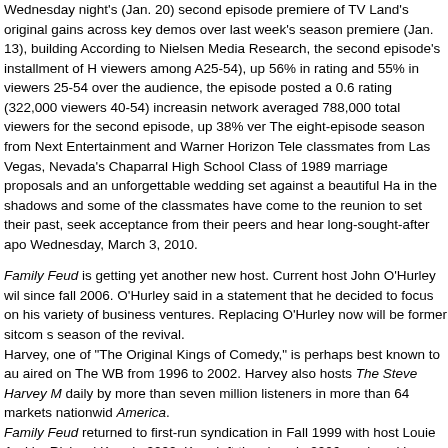Wednesday night's (Jan. 20) second episode premiere of TV Land's original gains across key demos over last week's season premiere (Jan. 13), building According to Nielsen Media Research, the second episode's installment of H viewers among A25-54), up 56% in rating and 55% in viewers 25-54 over the audience, the episode posted a 0.6 rating (322,000 viewers 40-54) increasin network averaged 788,000 total viewers for the second episode, up 38% ver The eight-episode season from Next Entertainment and Warner Horizon Tele classmates from Las Vegas, Nevada's Chaparral High School Class of 1989 marriage proposals and an unforgettable wedding set against a beautiful Ha in the shadows and some of the classmates have come to the reunion to set their past, seek acceptance from their peers and hear long-sought-after apo Wednesday, March 3, 2010.
Family Feud is getting yet another new host. Current host John O'Hurley wil since fall 2006. O'Hurley said in a statement that he decided to focus on his variety of business ventures. Replacing O'Hurley now will be former sitcom s season of the revival. Harvey, one of "The Original Kings of Comedy," is perhaps best known to au aired on The WB from 1996 to 2002. Harvey also hosts The Steve Harvey M daily by more than seven million listeners in more than 64 markets nationwid America. Family Feud returned to first-run syndication in Fall 1999 with host Louie And by Richard Karn in 2002. Karn left the show in 2006, replaced by O'Hurley, w run of the series was hosted by the great Richard Dawson from 1976-85 on the late Ray Combs as host for CBS and also syndication. Combs was fired season. Combs committed suicide in 1996. And that's the history of Family F at least in 2010-11.
We wanted to cover the State of the Union plans for the networks today, but Pacific timezones, so we will hold off until Monday for our report on that. Vie posted on our message board. Stay with us on Monday for a full report right